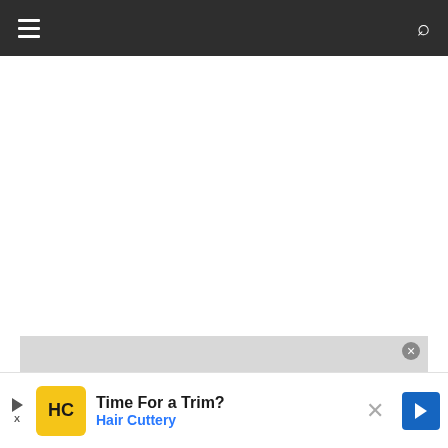Navigation bar with hamburger menu and search icon
[Figure (screenshot): Video player area showing 'No compatible source was found for this media.' message on a light gray background]
[Figure (infographic): Advertisement banner: 'Time For a Trim? Hair Cuttery' with HC logo in yellow square, play/close controls, and blue navigation arrow]